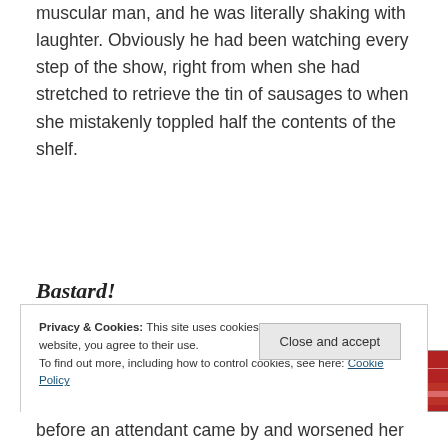muscular man, and he was literally shaking with laughter. Obviously he had been watching every step of the show, right from when she had stretched to retrieve the tin of sausages to when she mistakenly toppled half the contents of the shelf.
[Figure (other): Advertisements banner - Longreads red advertisement banner]
Bastard!
Privacy & Cookies: This site uses cookies. By continuing to use this website, you agree to their use.
To find out more, including how to control cookies, see here: Cookie Policy
before an attendant came by and worsened her